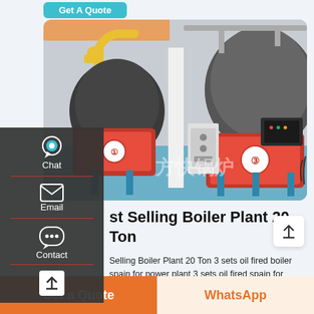[Figure (photo): Industrial boiler plant showing multiple large red boilers with yellow pipes installed in a facility with blue flooring, Chinese watermark text visible]
st Selling Boiler Plant 20 Ton
Selling Boiler Plant 20 Ton 3 sets oil fired boiler spain for power plant 3 sets oil fired spain for power Berga - first with high temperature biomass heat in Spain 31 Mar 2017 The first biomass-
Chat
Email
Contact
Get A Quote
Get a Quote
WhatsApp